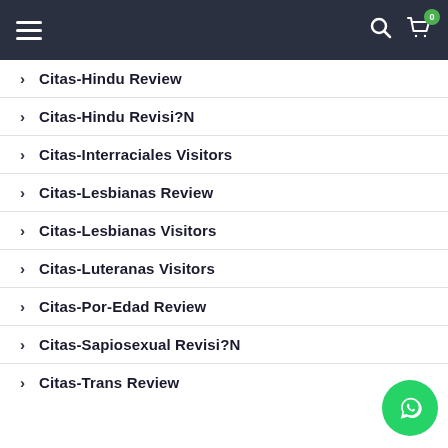Navigation bar with hamburger menu, search icon, and cart icon with badge 0
> Citas-Hindu Review
> Citas-Hindu Revisi?N
> Citas-Interraciales Visitors
> Citas-Lesbianas Review
> Citas-Lesbianas Visitors
> Citas-Luteranas Visitors
> Citas-Por-Edad Review
> Citas-Sapiosexual Revisi?N
> Citas-Trans Review